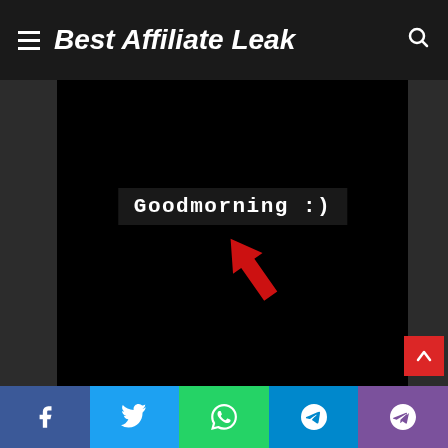Best Affiliate Leak
[Figure (screenshot): Black background image with white monospace text 'Goodmorning :)' and a large red arrow pointing up-left toward the text]
Facebook, Twitter, WhatsApp, Telegram, Viber share buttons